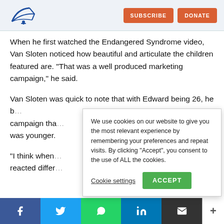SUBSCRIBE   DONATE
When he first watched the Endangered Syndrome video, Van Sloten noticed how beautiful and articulate the children featured are. “That was a well produced marketing campaign,” he said.
Van Sloten was quick to note that with Edward being 26, he b[...] campaign tha[...] was younger.
We use cookies on our website to give you the most relevant experience by remembering your preferences and repeat visits. By clicking “Accept”, you consent to the use of ALL the cookies.
Cookie settings   ACCEPT
“I think when [...] reacted differ[...]